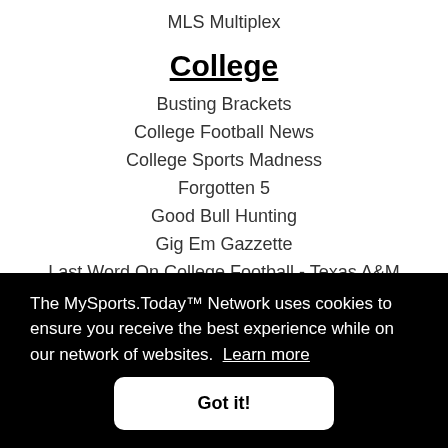MLS Multiplex
College
Busting Brackets
College Football News
College Sports Madness
Forgotten 5
Good Bull Hunting
Gig Em Gazzette
Last Word On College Football - Texas A&M
The MySports.Today™ Network uses cookies to ensure you receive the best experience while on our network of websites. Learn more
Got it!